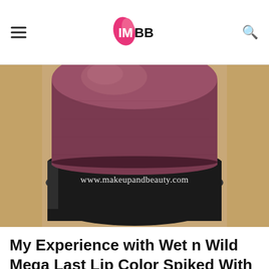IMBB
[Figure (photo): Close-up macro photograph of a dark mauve/plum lipstick bullet emerging from its black tube casing. Watermark reads: www.makeupandbeauty.com]
My Experience with Wet n Wild Mega Last Lip Color Spiked With Rum: